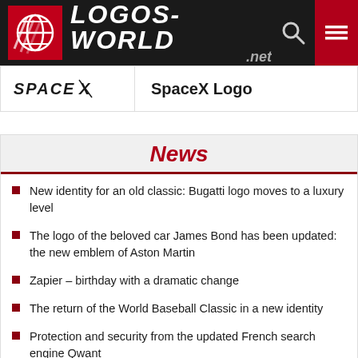LOGOS-WORLD.net
[Figure (logo): SpaceX logo in black with stylized X]
SpaceX Logo
News
New identity for an old classic: Bugatti logo moves to a luxury level
The logo of the beloved car James Bond has been updated: the new emblem of Aston Martin
Zapier – birthday with a dramatic change
The return of the World Baseball Classic in a new identity
Protection and security from the updated French search engine Qwant